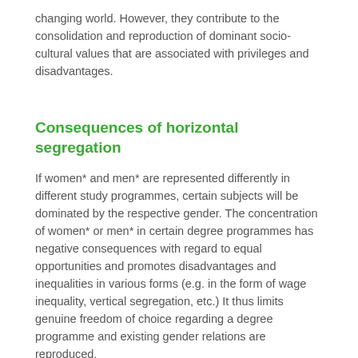changing world. However, they contribute to the consolidation and reproduction of dominant socio-cultural values that are associated with privileges and disadvantages.
Consequences of horizontal segregation
If women* and men* are represented differently in different study programmes, certain subjects will be dominated by the respective gender. The concentration of women* or men* in certain degree programmes has negative consequences with regard to equal opportunities and promotes disadvantages and inequalities in various forms (e.g. in the form of wage inequality, vertical segregation, etc.) It thus limits genuine freedom of choice regarding a degree programme and existing gender relations are reproduced.